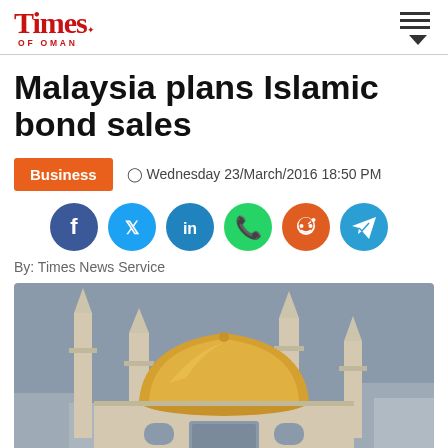Times of Oman
Malaysia plans Islamic bond sales
Business  Wednesday 23/March/2016 18:50 PM
By: Times News Service
[Figure (photo): A mosque with a large golden dome and four tall minarets against a grey sky]